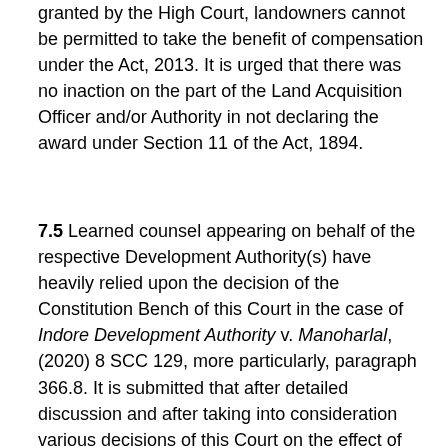granted by the High Court, landowners cannot be permitted to take the benefit of compensation under the Act, 2013. It is urged that there was no inaction on the part of the Land Acquisition Officer and/or Authority in not declaring the award under Section 11 of the Act, 1894.
7.5 Learned counsel appearing on behalf of the respective Development Authority(s) have heavily relied upon the decision of the Constitution Bench of this Court in the case of Indore Development Authority v. Manoharlal, (2020) 8 SCC 129, more particularly, paragraph 366.8. It is submitted that after detailed discussion and after taking into consideration various decisions of this Court on the effect of the stay granted by the Court and on the principle of restitution, it is specifically observed and held by this Court that (i) the act of the Court shall prejudice no one; (ii) no one is bound to do an impossibility; (iii) law does not compel a man to do that which he cannot possibly perform; (iv) where law creates a duty or charge and the party is